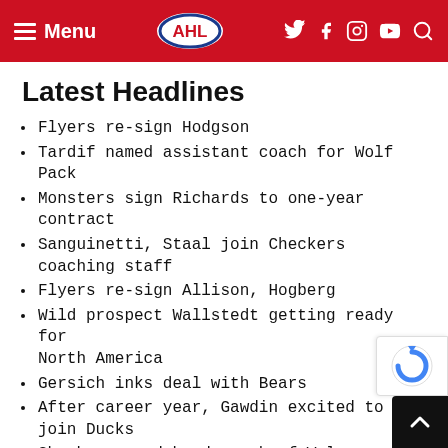Menu | AHL | Social icons
Latest Headlines
Flyers re-sign Hodgson
Tardif named assistant coach for Wolf Pack
Monsters sign Richards to one-year contract
Sanguinetti, Staal join Checkers coaching staff
Flyers re-sign Allison, Hogberg
Wild prospect Wallstedt getting ready for North America
Gersich inks deal with Bears
After career year, Gawdin excited to join Ducks
Sheahan named head coach of Wolves
Islanders re-sign two, add two
News Archive
Select Month